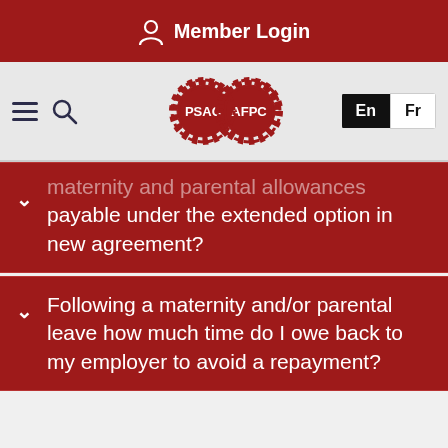Member Login
[Figure (logo): PSAC/AFPC dual gear logo with hamburger menu and search icon, En/Fr language toggle]
maternity and parental allowances payable under the extended option in new agreement?
Following a maternity and/or parental leave how much time do I owe back to my employer to avoid a repayment?